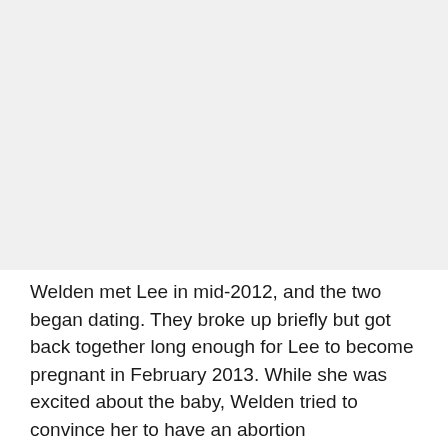[Figure (photo): A large light gray rectangular placeholder image occupying the upper portion of the page.]
Welden met Lee in mid-2012, and the two began dating. They broke up briefly but got back together long enough for Lee to become pregnant in February 2013. While she was excited about the baby, Welden tried to convince her to have an abortion...